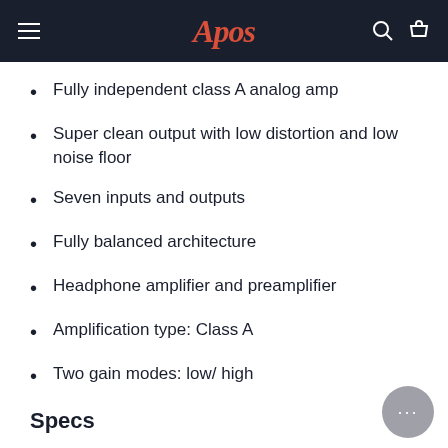Apos
Fully independent class A analog amp
Super clean output with low distortion and low noise floor
Seven inputs and outputs
Fully balanced architecture
Headphone amplifier and preamplifier
Amplification type: Class A
Two gain modes: low/ high
Specs